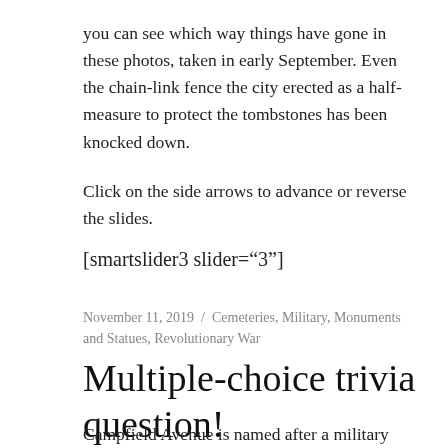you can see which way things have gone in these photos, taken in early September. Even the chain-link fence the city erected as a half-measure to protect the tombstones has been knocked down.
Click on the side arrows to advance or reverse the slides.
[smartslider3 slider="3"]
November 11, 2019 / Cemeteries, Military, Monuments and Statues, Revolutionary War
Multiple-choice trivia question!
Campfield Avenue is named after a military encampment